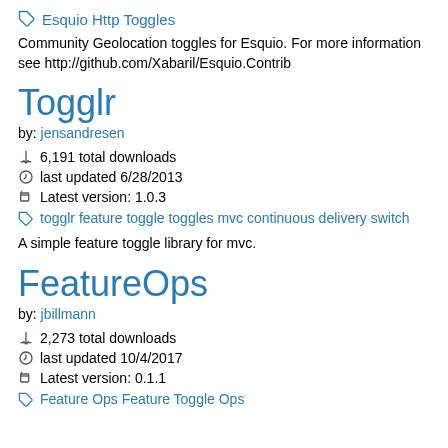Esquio Http Toggles
Community Geolocation toggles for Esquio. For more information see http://github.com/Xabaril/Esquio.Contrib
Togglr
by: jensandresen
6,191 total downloads
last updated 6/28/2013
Latest version: 1.0.3
togglr feature toggle toggles mvc continuous delivery switch
A simple feature toggle library for mvc.
FeatureOps
by: jbillmann
2,273 total downloads
last updated 10/4/2017
Latest version: 0.1.1